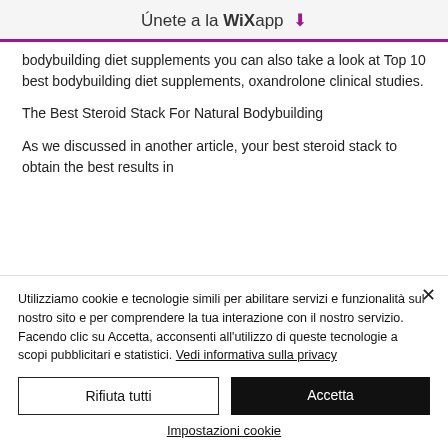Únete a la WiXapp ⬇
bodybuilding diet supplements you can also take a look at Top 10 best bodybuilding diet supplements, oxandrolone clinical studies.
The Best Steroid Stack For Natural Bodybuilding
As we discussed in another article, your best steroid stack to obtain the best results in
Utilizziamo cookie e tecnologie simili per abilitare servizi e funzionalità sul nostro sito e per comprendere la tua interazione con il nostro servizio. Facendo clic su Accetta, acconsenti all'utilizzo di queste tecnologie a scopi pubblicitari e statistici. Vedi informativa sulla privacy
Rifiuta tutti
Accetta
Impostazioni cookie